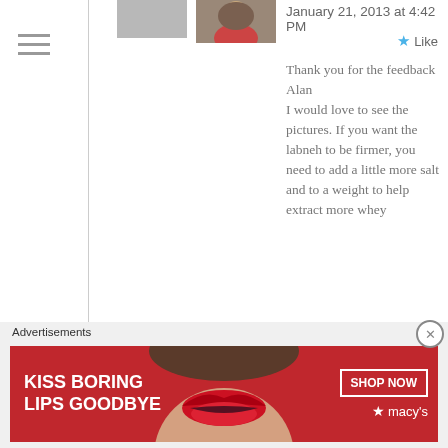[Figure (screenshot): Website comment section screenshot showing two comments on a food blog about labneh recipe, with avatars, dates, like buttons, and an advertisement banner at the bottom for Macy's lip products.]
January 21, 2013 at 4:42 PM
Thank you for the feedback Alan
I would love to see the pictures. If you want the labneh to be firmer, you need to add a little more salt and to a weight to help extract more whey
Audra (Unabridged Chick) on January 16, 2013 at 3:42 AM
Reply
So excited to find this recipe — just came back from Turkey and am
Advertisements
KISS BORING LIPS GOODBYE
SHOP NOW
★ macy's